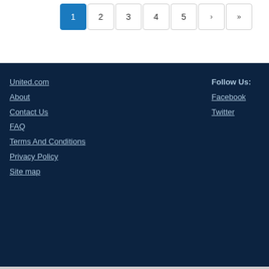[Figure (other): Pagination control showing buttons: 1 (active/blue), 2, 3, 4, 5, next arrow, last arrow]
United.com
About
Contact Us
FAQ
Terms And Conditions
Privacy Policy
Site map
Follow Us:
Facebook
Twitter